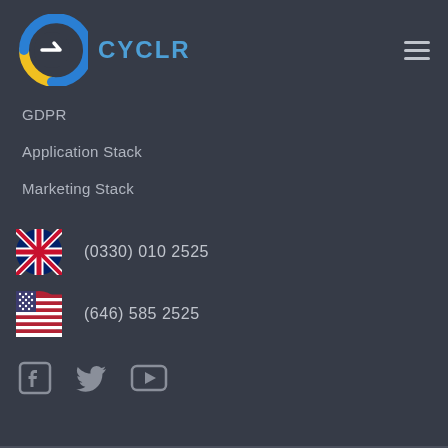[Figure (logo): Cyclr logo: circular C shape in blue and yellow with a white arrow, next to the text CYCLR in blue]
[Figure (infographic): Hamburger menu icon (three horizontal lines) in grey]
GDPR
Application Stack
Marketing Stack
[Figure (infographic): UK flag circle emoji followed by phone number (0330) 010 2525]
(0330) 010 2525
[Figure (infographic): US flag circle emoji followed by phone number (646) 585 2525]
(646) 585 2525
[Figure (infographic): Social media icons: Facebook, Twitter, YouTube in grey]